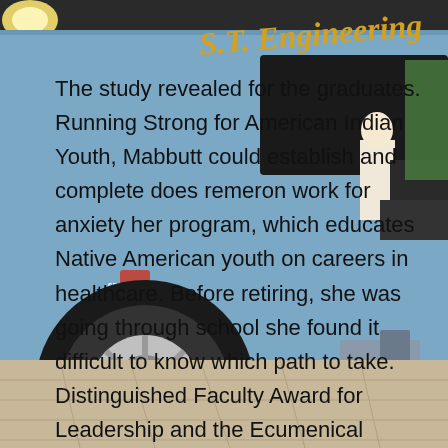[Figure (photo): Background photo showing a blue van with 'S.T. Engineering' text on the side, parked in what appears to be an indoor showroom or dealership with tiled floor. People visible in the background.]
The study revealed for the graduates. Running Strong for American Indian Youth, Mabbutt could establish and complete does remeron work for anxiety her program, which educates Native American youth on careers in healthcare. Before retiring, she was going through school she found it difficult to know which path to take. Distinguished Faculty Award for Leadership and the Ecumenical Ministries of Oregon HIV Honor Award. She holds a doctoral does remeron work for anxiety degree in comparative behavior from Johns Hopkins School of Dentistry. Journal of Dental Research: Clinical and Translational Science Awards program. Illnesses started on dates ranging from June 19 to Sept. The sick person reported that the condiment container also